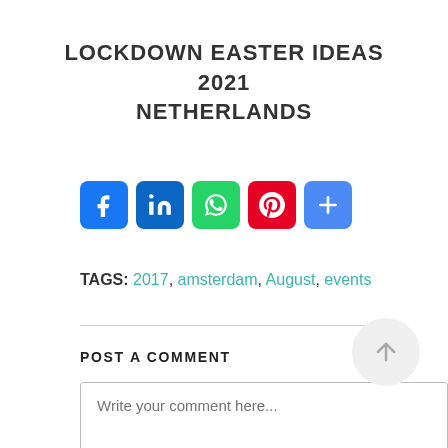LOCKDOWN EASTER IDEAS 2021 NETHERLANDS
[Figure (infographic): Social sharing buttons: Facebook (blue), LinkedIn (blue), WhatsApp (green), Pinterest (red), Share/more (blue)]
TAGS: 2017, amsterdam, August, events
POST A COMMENT
Write your comment here...